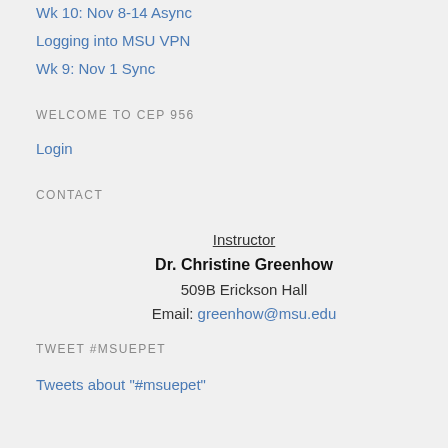Wk 10: Nov 8-14 Async
Logging into MSU VPN
Wk 9: Nov 1 Sync
WELCOME TO CEP 956
Login
CONTACT
Instructor
Dr. Christine Greenhow
509B Erickson Hall
Email: greenhow@msu.edu
TWEET #MSUEPET
Tweets about "#msuepet"